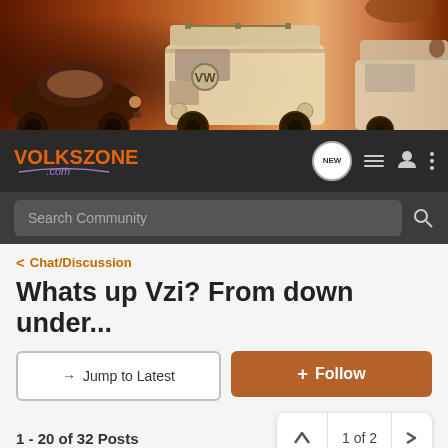[Figure (illustration): Website banner showing stylized vintage Volkswagen vehicles (Beetle and Bus) in warm orange/brown tones]
VOLKSZONE .com — navigation bar with NEW bubble, list icon, user icon, menu icon
Search Community
< Chat/Discussion
Whats up Vzi? From down under...
→ Jump to Latest
+ Follow
1 - 20 of 32 Posts
1 of 2
Misty's Quest · Registered